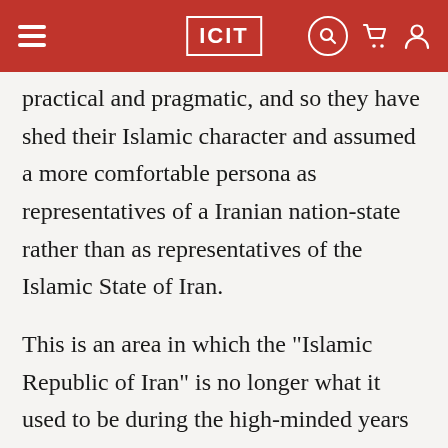ICIT
practical and pragmatic, and so they have shed their Islamic character and assumed a more comfortable persona as representatives of a Iranian nation-state rather than as representatives of the Islamic State of Iran.
This is an area in which the "Islamic Republic of Iran" is no longer what it used to be during the high-minded years of Imam Khomeini. Gradually, in international affairs, the influence of these types in the foreign